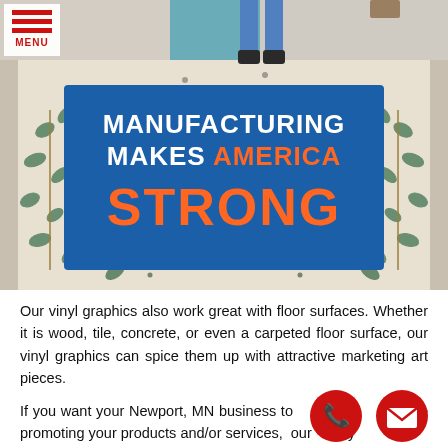[Figure (photo): Photo of a decorative carpet floor with a blue vinyl floor graphic reading MANUFACTURING MAKES AMERICA STRONG in white and orange text. The carpet has a floral/leaf pattern.]
Our vinyl graphics also work great with floor surfaces. Whether it is wood, tile, concrete, or even a carpeted floor surface, our vinyl graphics can spice them up with attractive marketing art pieces.
If you want your Newport, MN business to start promoting your products and/or services, our overtly